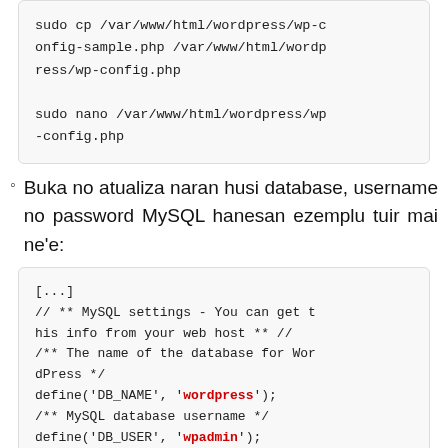sudo cp /var/www/html/wordpress/wp-config-sample.php /var/www/html/wordpress/wp-config.php

sudo nano /var/www/html/wordpress/wp-config.php
Buka no atualiza naran husi database, username no password MySQL hanesan ezemplu tuir mai ne'e:
[...]
// ** MySQL settings - You can get this info from your web host ** //
/** The name of the database for WordPress */
define('DB_NAME', 'wordpress');
/** MySQL database username */
define('DB_USER', 'wpadmin');
/** MySQL database password */
define('DB_PASSWORD', 'wppassword');
/** MySQL hostname */